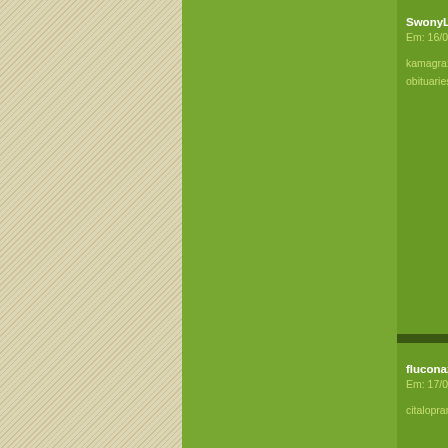[Figure (screenshot): Website screenshot showing a forum or blog with a beige diagonal-striped left column, a large green center column, and a right sidebar with dark green background containing comment/post cards. Cards visible: SwonyLo (Em: 16/03) with text about kamagra and obituaries; fluconazole (Em: 17/03) with text about citalopram; Vxsogb (Em: 17/03) with text about Lyciiv - htt; metformin (partially visible).]